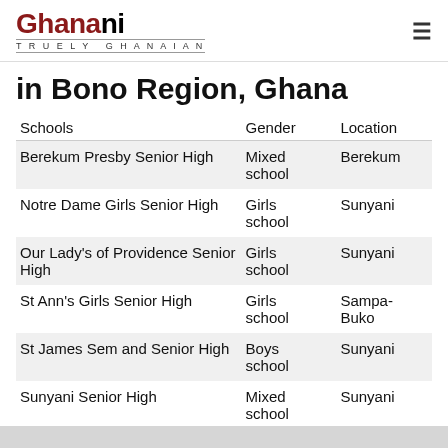Ghanani — Truely Ghanaian
in Bono Region, Ghana
| Schools | Gender | Location |
| --- | --- | --- |
| Berekum Presby Senior High | Mixed school | Berekum |
| Notre Dame Girls Senior High | Girls school | Sunyani |
| Our Lady's of Providence Senior High | Girls school | Sunyani |
| St Ann's Girls Senior High | Girls school | Sampa-Buko |
| St James Sem and Senior High | Boys school | Sunyani |
| Sunyani Senior High | Mixed school | Sunyani |